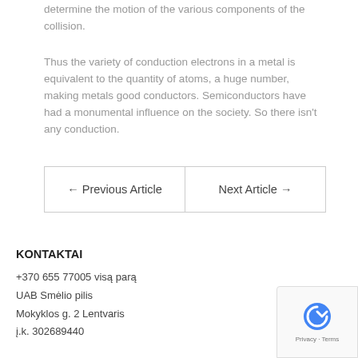determine the motion of the various components of the collision.
Thus the variety of conduction electrons in a metal is equivalent to the quantity of atoms, a huge number, making metals good conductors. Semiconductors have had a monumental influence on the society. So there isn't any conduction.
| ← Previous Article | Next Article → |
KONTAKTAI
+370 655 77005 visą parą
UAB Smėlio pilis
Mokyklos g. 2 Lentvaris
į.k. 302689440
[Figure (other): reCAPTCHA badge with Privacy and Terms text]